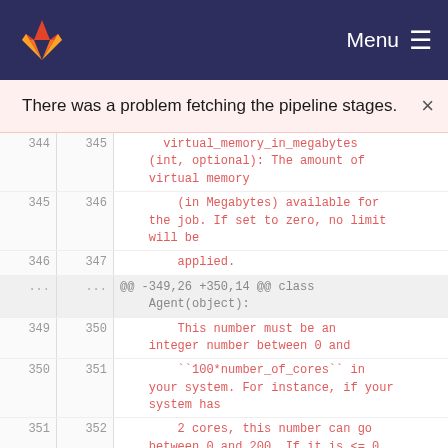GitLab nav with logo and Menu button
There was a problem fetching the pipeline stages.
[Figure (screenshot): GitLab diff view showing code changes with line numbers 344-352, displaying Python docstring text about virtual_memory_in_megabytes parameter and CPU usage tracking. Lines shown in red (added/changed) with context hunk at lines ... showing @@ -349,26 +350,14 @@ class Agent(object):.]